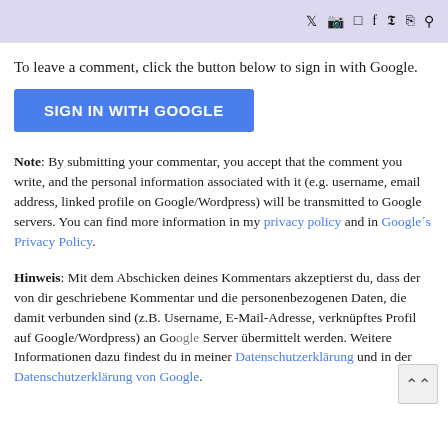Twitter Instagram Email Facebook Pinterest RSS Search
To leave a comment, click the button below to sign in with Google.
[Figure (other): SIGN IN WITH GOOGLE button (blue)]
Note: By submitting your commentar, you accept that the comment you write, and the personal information associated with it (e.g. username, email address, linked profile on Google/Wordpress) will be transmitted to Google servers. You can find more information in my privacy policy and in Google´s Privacy Policy.
Hinweis: Mit dem Abschicken deines Kommentars akzeptierst du, dass der von dir geschriebene Kommentar und die personenbezogenen Daten, die damit verbunden sind (z.B. Username, E-Mail-Adresse, verknüpftes Profil auf Google/Wordpress) an Google Server übermittelt werden. Weitere Informationen dazu findest du in meiner Datenschutzerklärung und in der Datenschutzerklärung von Google.